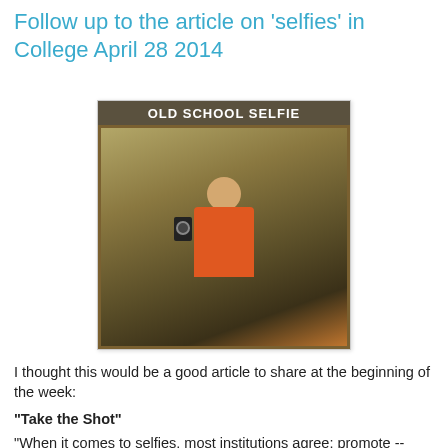Follow up to the article on 'selfies' in College April 28 2014
[Figure (photo): Meme image titled 'OLD SCHOOL SELFIE' showing a man in an orange shirt taking a mirror selfie with an old-fashioned camera in a bathroom.]
I thought this would be a good article to share at the beginning of the week:
"Take the Shot"
"When it comes to selfies, most institutions agree: promote -- don't prohibit."
"Bryant University may have started a mini-trend when it